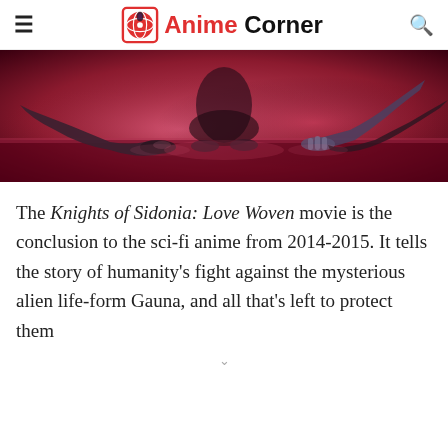Anime Corner
[Figure (photo): A dark, red/pink-tinted cinematic scene showing several figures touching hands across a surface, in an anime visual style.]
The Knights of Sidonia: Love Woven movie is the conclusion to the sci-fi anime from 2014-2015. It tells the story of humanity's fight against the mysterious alien life-form Gauna, and all that's left to protect them